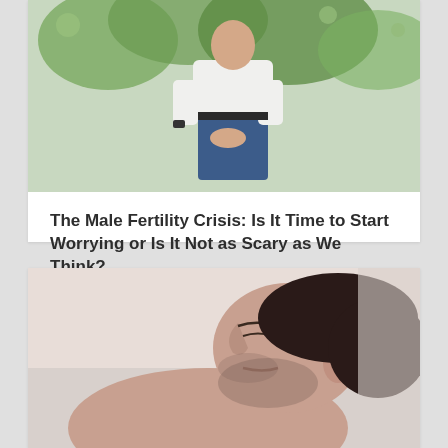[Figure (photo): Man sitting outdoors in jeans and white shirt, with trees in background]
The Male Fertility Crisis: Is It Time to Start Worrying or Is It Not as Scary as We Think?
Aug 31, 2021
read more
[Figure (photo): Man lying down with eyes closed, face in profile view, dark hair and beard stubble]